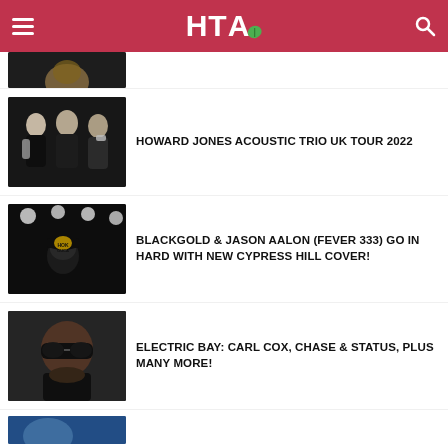HTA (logo with leaf) — navigation header
[Figure (photo): Partial thumbnail of an article at top, partially cropped]
HOWARD JONES ACOUSTIC TRIO UK TOUR 2022
BLACKGOLD & JASON AALON (FEVER 333) GO IN HARD WITH NEW CYPRESS HILL COVER!
ELECTRIC BAY: CARL COX, CHASE & STATUS, PLUS MANY MORE!
[Figure (photo): Partial thumbnail at bottom, partially cropped — blue tones]